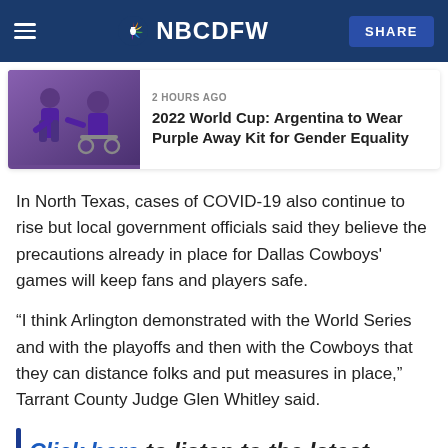NBC DFW
[Figure (photo): Two people in purple shirts, one seated in a wheelchair, in an indoor setting]
2 HOURS AGO
2022 World Cup: Argentina to Wear Purple Away Kit for Gender Equality
In North Texas, cases of COVID-19 also continue to rise but local government officials said they believe the precautions already in place for Dallas Cowboys' games will keep fans and players safe.
“I think Arlington demonstrated with the World Series and with the playoffs and then with the Cowboys that they can distance folks and put measures in place,” Tarrant County Judge Glen Whitley said.
Click here to listen to the latest